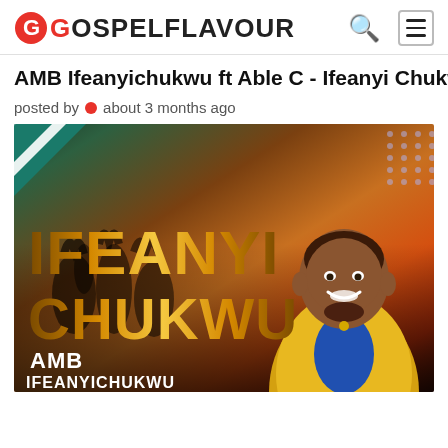GOSPELFLAVOUR
AMB Ifeanyichukwu ft Able C - Ifeanyi Chukwu
posted by • about 3 months ago
[Figure (photo): Album art promotional image for 'Ifeanyi Chukwu' by AMB Ifeanyichukwu. Large gold/orange text reads 'IFEANYI CHUKWU' over a warm gradient background with crowd silhouettes. A smiling man in a yellow jacket is visible on the right. 'AMB IFEANYICHUKWU' text appears at bottom left. Teal triangle in top-left corner, dotted pattern in top-right.]